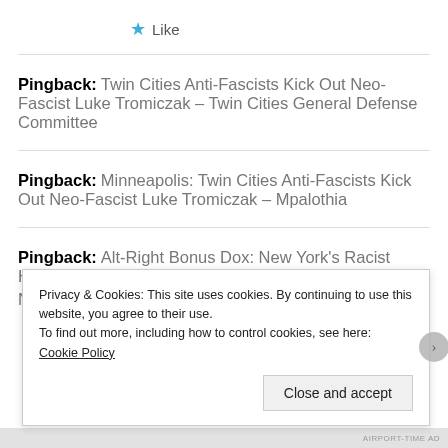★ Like
Pingback: Twin Cities Anti-Fascists Kick Out Neo-Fascist Luke Tromiczak – Twin Cities General Defense Committee
Pingback: Minneapolis: Twin Cities Anti-Fascists Kick Out Neo-Fascist Luke Tromiczak – Mpalothia
Pingback: Alt-Right Bonus Dox: New York's Racist Heathens | NYC ANTIFA
Privacy & Cookies: This site uses cookies. By continuing to use this website, you agree to their use. To find out more, including how to control cookies, see here: Cookie Policy
Close and accept